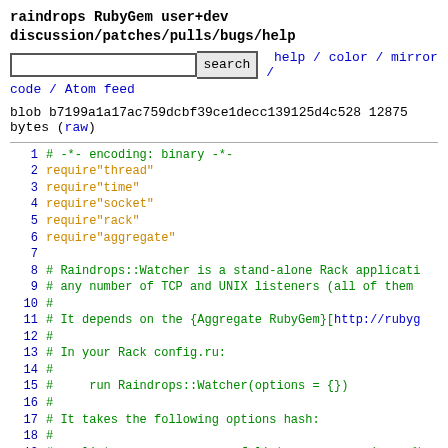raindrops RubyGem user+dev discussion/patches/pulls/bugs/help
help / color / mirror / code / Atom feed
blob b7199a1a17ac759dcbf39ce1decc139125d4c528 12875 bytes (raw)
[Figure (screenshot): Code viewer showing Ruby source file lines 1-21 with syntax highlighting. Lines 1-6 show require statements, lines 7-21 show comments describing Raindrops::Watcher class.]